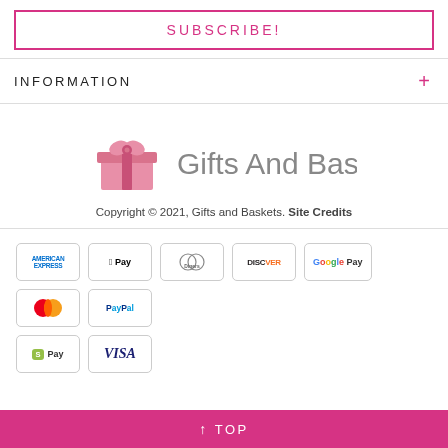SUBSCRIBE!
INFORMATION
[Figure (logo): Gifts And Baskets logo with pink gift box icon and gray text]
Copyright © 2021, Gifts and Baskets. Site Credits
[Figure (infographic): Payment method badges: American Express, Apple Pay, Diners Club, Discover, Google Pay, Mastercard, PayPal, Shopify Pay, Visa]
↑ TOP